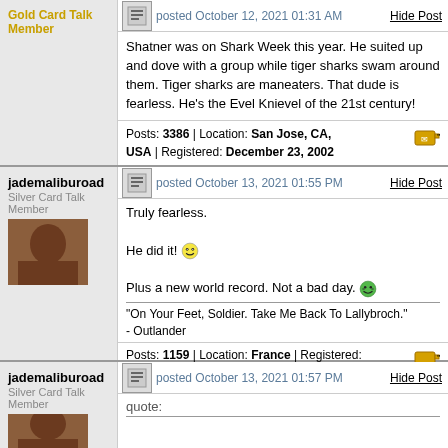Gold Card Talk Member
posted October 12, 2021 01:31 AM | Hide Post
Shatner was on Shark Week this year. He suited up and dove with a group while tiger sharks swam around them. Tiger sharks are maneaters. That dude is fearless. He's the Evel Knievel of the 21st century!
Posts: 3386 | Location: San Jose, CA, USA | Registered: December 23, 2002
jademaliburoad
Silver Card Talk Member
posted October 13, 2021 01:55 PM | Hide Post
Truly fearless.

He did it!

Plus a new world record. Not a bad day.
"On Your Feet, Soldier. Take Me Back To Lallybroch."
- Outlander
Posts: 1159 | Location: France | Registered: April 13, 2003
jademaliburoad
Silver Card Talk Member
posted October 13, 2021 01:57 PM | Hide Post
quote: